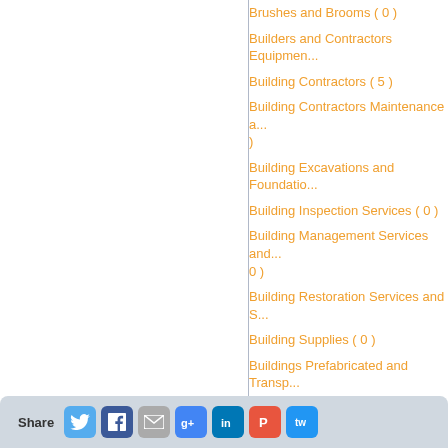Brushes and Brooms ( 0 )
Builders and Contractors Equipment
Building Contractors ( 5 )
Building Contractors Maintenance a... )
Building Excavations and Foundatio...
Building Inspection Services ( 0 )
Building Management Services and... 0 )
Building Restoration Services and S...
Building Supplies ( 0 )
Buildings Prefabricated and Transp... Commercial and Industrial ( 1 )
Bulbs "Nurseries Retail" ( 0 )
Bus and Coach Scheduled Service...
Bus Builders ( 0 )
Bush Foods and Ingredients ( 0 )
Business Brokers ( 3 )
Business Consultants ( 4 )
Business Resources Qualifications...